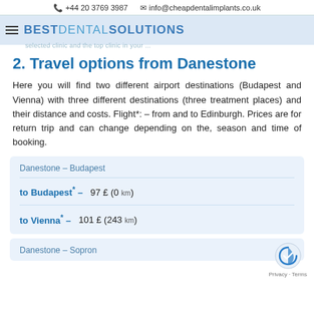☎ +44 20 3769 3987   ✉ info@cheapdentalimplants.co.uk
selected clinic and the top clinic in your ... BEST DENTAL SOLUTIONS
2. Travel options from Danestone
Here you will find two different airport destinations (Budapest and Vienna) with three different destinations (three treatment places) and their distance and costs. Flight*: – from and to Edinburgh. Prices are for return trip and can change depending on the, season and time of booking.
| Danestone – Budapest |
| to Budapest* –  97 £ (0 km) |
| to Vienna* –  101 £ (243 km) |
Danestone – Sopron